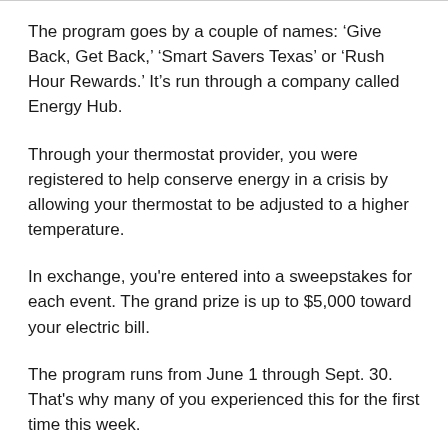The program goes by a couple of names: ‘Give Back, Get Back,’ ‘Smart Savers Texas’ or ‘Rush Hour Rewards.’ It’s run through a company called Energy Hub.
Through your thermostat provider, you were registered to help conserve energy in a crisis by allowing your thermostat to be adjusted to a higher temperature.
In exchange, you're entered into a sweepstakes for each event. The grand prize is up to $5,000 toward your electric bill.
The program runs from June 1 through Sept. 30. That's why many of you experienced this for the first time this week.